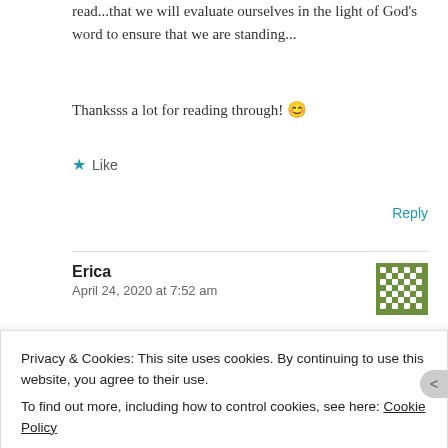read...that we will evaluate ourselves in the light of God's word to ensure that we are standing...
Thanksss a lot for reading through! 😊
★ Like
Reply
Erica
April 24, 2020 at 7:52 am
Privacy & Cookies: This site uses cookies. By continuing to use this website, you agree to their use.
To find out more, including how to control cookies, see here: Cookie Policy
Close and accept